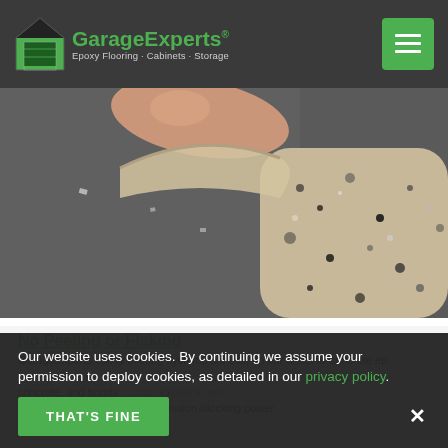GarageExperts® Epoxy Flooring · Cabinets · Storage
[Figure (photo): Close-up photo of a hand peeling back a layer of epoxy/coating from a concrete floor, showing the underside texture with speckled aggregate]
No Peeling or Flaking
GarageExperts epoxy flooring systems are built on our direct-to-concrete ep... ...deep into the concrete, and bonds... ...can expect to get over 8lbs of moisture vapor emission-blocking power.
Our website uses cookies. By continuing we assume your permission to deploy cookies, as detailed in our privacy policy.